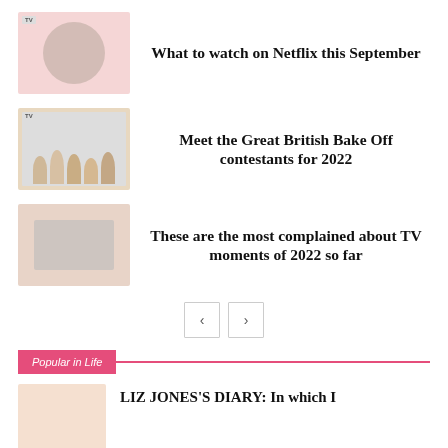[Figure (photo): Thumbnail image with pink background and circular blurred photo, TV badge top-left]
What to watch on Netflix this September
[Figure (photo): Thumbnail image showing group of people, Great British Bake Off contestants, TV badge bottom-right]
Meet the Great British Bake Off contestants for 2022
[Figure (photo): Thumbnail image showing TV screen scene]
These are the most complained about TV moments of 2022 so far
< >
Popular in Life
[Figure (photo): Small thumbnail image, pinkish background]
LIZ JONES'S DIARY: In which I